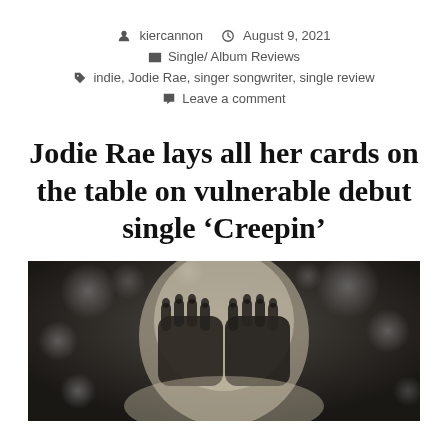kiercannon  August 9, 2021  Single/ Album Reviews  indie, Jodie Rae, singer songwriter, single review  Leave a comment
Jodie Rae lays all her cards on the table on vulnerable debut single ‘Creepin’
[Figure (photo): A person with light hair covering their face with dark-painted hands, with a blurred bokeh background in dark tones.]